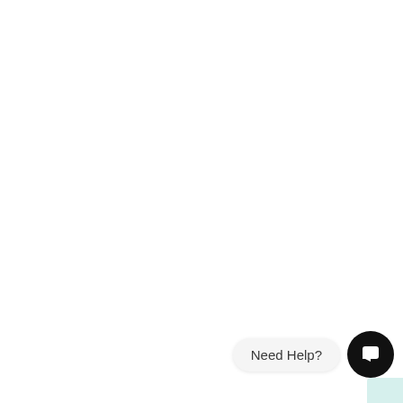[Figure (other): A chat support widget in the bottom-right corner of the page. It consists of a rounded pill-shaped bubble with the text 'Need Help?' and a black circular button with a white chat/message icon. A small teal/mint colored rectangle is visible in the bottom-right corner behind the widget.]